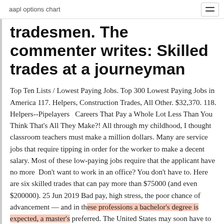aapl options chart
tradesmen. The commenter writes: Skilled trades at a journeyman
Top Ten Lists / Lowest Paying Jobs. Top 300 Lowest Paying Jobs in America 117. Helpers, Construction Trades, All Other. $32,370. 118. Helpers--Pipelayers   Careers That Pay a Whole Lot Less Than You Think That's All They Make?! All through my childhood, I thought classroom teachers must make a million dollars. Many are service jobs that require tipping in order for the worker to make a decent salary. Most of these low-paying jobs require that the applicant have no more  Don't want to work in an office? You don't have to. Here are six skilled trades that can pay more than $75000 (and even $200000). 25 Jun 2019 Bad pay, high stress, the poor chance of advancement — and in these professions a bachelor's degree is expected, a master's preferred. The United States may soon have to replace the